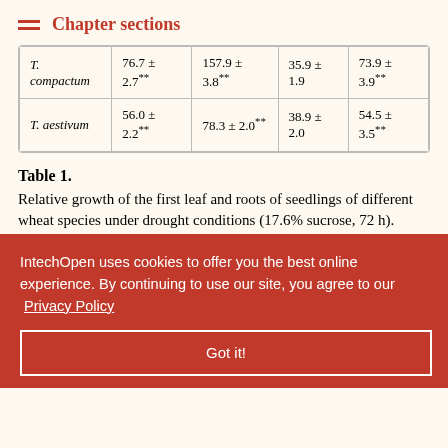Chapter sections
| Species | Col1 | Col2 | Col3 | Col4 |
| --- | --- | --- | --- | --- |
| T. compactum | 76.7 ± 2.7** | 157.9 ± 3.8** | 35.9 ± 1.9 | 73.9 ± 3.9** |
| T. aestivum | 56.0 ± 2.2** | 78.3 ± 2.0** | 38.9 ± 2.0 | 54.5 ± 3.5** |
Table 1. Relative growth of the first leaf and roots of seedlings of different wheat species under drought conditions (17.6% sucrose, 72 h).
Note: * and ** indicate significant differences at p ≤ 0.05 and deviations
pressed the growth of the hese results demonstrate the important role of the actively...